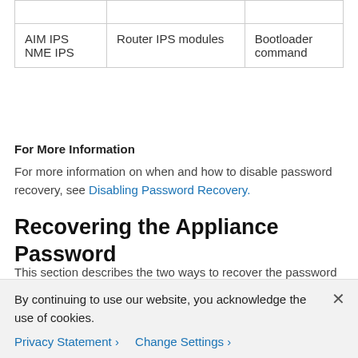|  |  |  |
| AIM IPS
NME IPS | Router IPS modules | Bootloader
command |
For More Information
For more information on when and how to disable password recovery, see Disabling Password Recovery.
Recovering the Appliance Password
This section describes the two ways to recover the password for appliances. It contains the following topics:
Using the GRUB Menu
Using ROMMON
By continuing to use our website, you acknowledge the use of cookies.
Privacy Statement > Change Settings >